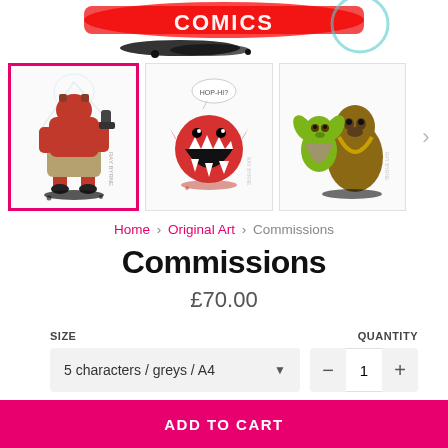[Figure (illustration): Top banner with stylized graffiti/comic logo with red letters and black ink splash]
[Figure (photo): Gallery of artwork thumbnails: first (selected, pink border) shows Hellboy-like red character from behind holding a gun; second shows a round red monster with open mouth and speech bubble; third shows Yoda and Chewbacca characters in Star Wars style illustration]
Home › Original Art › Commissions
Commissions
£70.00
SIZE
QUANTITY
5 characters / greys / A4
1
ADD TO CART